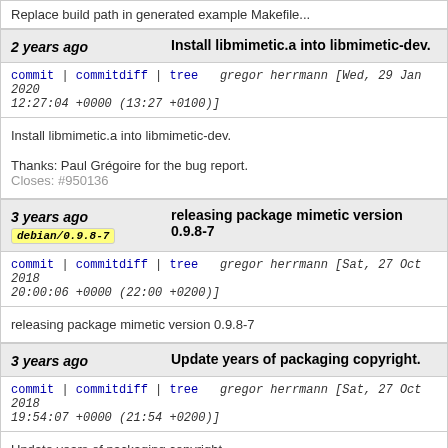Replace build path in generated example Makefile...
2 years ago   Install libmimetic.a into libmimetic-dev.
commit | commitdiff | tree   gregor herrmann [Wed, 29 Jan 2020 12:27:04 +0000 (13:27 +0100)]
Install libmimetic.a into libmimetic-dev.

Thanks: Paul Grégoire for the bug report.
Closes: #950136
3 years ago   releasing package mimetic version 0.9.8-7
debian/0.9.8-7
commit | commitdiff | tree   gregor herrmann [Sat, 27 Oct 2018 20:00:06 +0000 (22:00 +0200)]
releasing package mimetic version 0.9.8-7
3 years ago   Update years of packaging copyright.
commit | commitdiff | tree   gregor herrmann [Sat, 27 Oct 2018 19:54:07 +0000 (21:54 +0200)]
Update years of packaging copyright.
3 years ago   Remove trailing whitespace from debian/*.